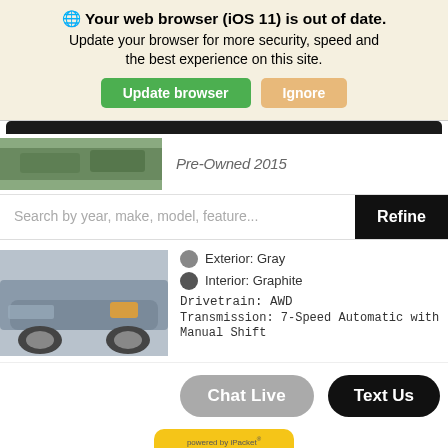Your web browser (iOS 11) is out of date. Update your browser for more security, speed and the best experience on this site.
[Figure (screenshot): Two buttons: green 'Update browser' and tan/gold 'Ignore']
[Figure (photo): Pre-owned 2015 vehicle thumbnail in car dealership listing]
Pre-Owned 2015
Search by year, make, model, feature...
Refine
[Figure (photo): Gray pre-owned car front quarter view]
Exterior: Gray
Interior: Graphite
Drivetrain: AWD
Transmission: 7-Speed Automatic with Manual Shift
Chat Live
Text Us
[Figure (logo): iPacket Vehicle Records badge in yellow/gold]